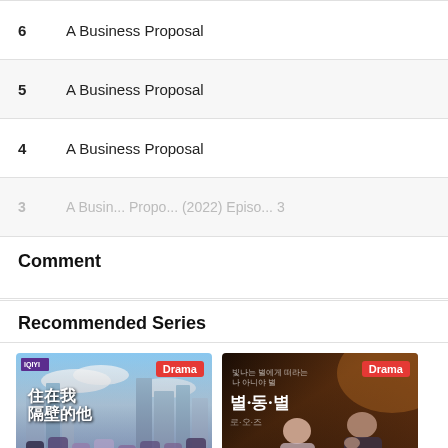| # | Title |
| --- | --- |
| 6 | A Business Proposal |
| 5 | A Business Proposal |
| 4 | A Business Proposal |
| 3 | A Business Proposal (2022) Episode 3 |
Comment
Recommended Series
[Figure (photo): Chinese drama show poster with city skyline background and cast members, tagged Drama]
[Figure (photo): Korean drama show poster with couple in dark moody setting, Korean text, tagged Drama]